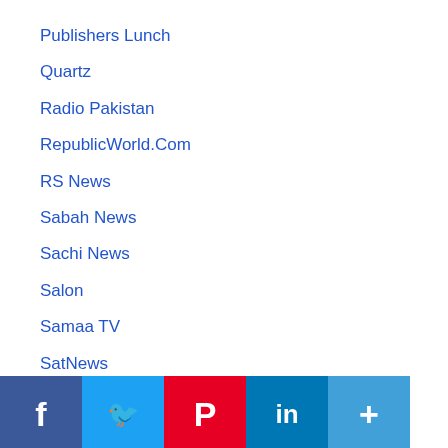Publishers Lunch
Quartz
Radio Pakistan
RepublicWorld.Com
RS News
Sabah News
Sachi News
Salon
Samaa TV
SatNews
Scholastic News
Scientific And Exploration Society
Shropshire Star
Sierra Mountaineering International
Sky News
Snow Brains
South Asia Monitor
South China Morning Post